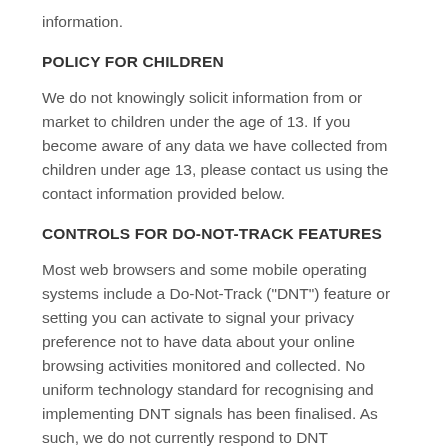information.
POLICY FOR CHILDREN
We do not knowingly solicit information from or market to children under the age of 13. If you become aware of any data we have collected from children under age 13, please contact us using the contact information provided below.
CONTROLS FOR DO-NOT-TRACK FEATURES
Most web browsers and some mobile operating systems include a Do-Not-Track ("DNT") feature or setting you can activate to signal your privacy preference not to have data about your online browsing activities monitored and collected. No uniform technology standard for recognising and implementing DNT signals has been finalised. As such, we do not currently respond to DNT